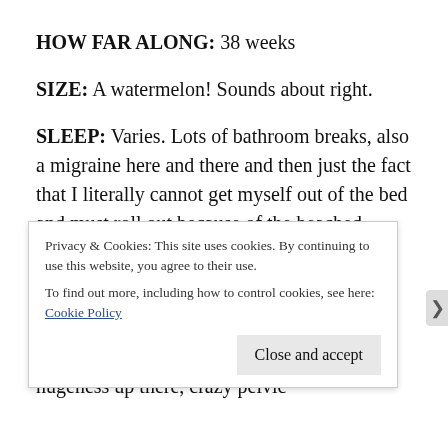HOW FAR ALONG: 38 weeks
SIZE: A watermelon! Sounds about right.
SLEEP: Varies. Lots of bathroom breaks, also a migraine here and there and then just the fact that I literally cannot get myself out of the bed and must roll out because of the beached whale status.
SYMPTOMS: Once it’s at this point, what isn’t a symptom?! I’ve got back pain, nausea from time to time, leg cramps, thigh cramps, hugeness up there, crazy pelvic
Privacy & Cookies: This site uses cookies. By continuing to use this website, you agree to their use.
To find out more, including how to control cookies, see here: Cookie Policy
Close and accept